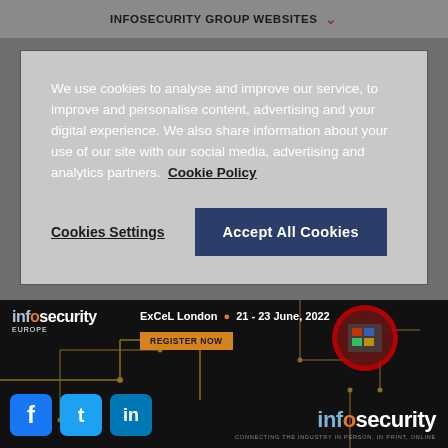INFOSECURITY GROUP WEBSITES
We use cookies to analyse and improve our service, to improve and personalise content, advertising and your digital experience. We also share information about your use of our site with our social media, advertising and analytics partners. Cookie Policy
Cookies Settings
Accept All Cookies
AddThis
[Figure (screenshot): Infosecurity Europe banner with ExCeL London · 21–23 June, 2022 and REGISTER NOW button, with circuit board background]
[Figure (logo): infosecurity magazine logo bottom right with tagline CONNECTING THE INDUSTRY IN PERSON, IN PRINT, ONLINE]